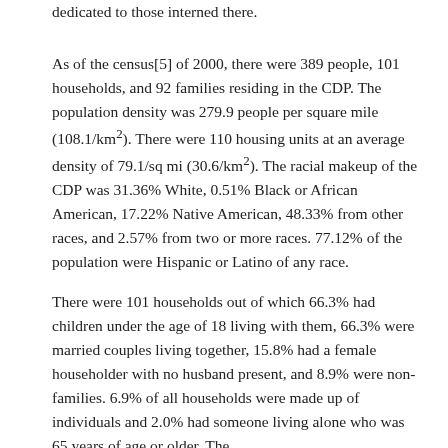dedicated to those interned there.
As of the census[5] of 2000, there were 389 people, 101 households, and 92 families residing in the CDP. The population density was 279.9 people per square mile (108.1/km²). There were 110 housing units at an average density of 79.1/sq mi (30.6/km²). The racial makeup of the CDP was 31.36% White, 0.51% Black or African American, 17.22% Native American, 48.33% from other races, and 2.57% from two or more races. 77.12% of the population were Hispanic or Latino of any race.
There were 101 households out of which 66.3% had children under the age of 18 living with them, 66.3% were married couples living together, 15.8% had a female householder with no husband present, and 8.9% were non-families. 6.9% of all households were made up of individuals and 2.0% had someone living alone who was 65 years of age or older. The average household size was 3.85 and the average family size...